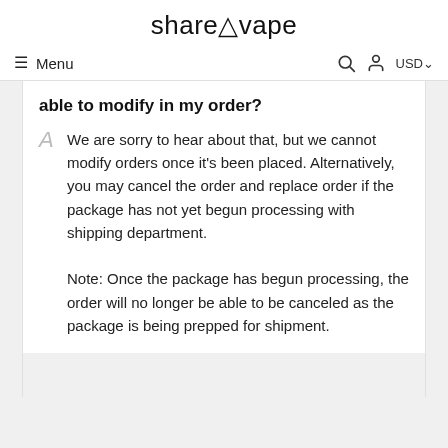shareAvape
able to modify in my order?
We are sorry to hear about that, but we cannot modify orders once it's been placed. Alternatively, you may cancel the order and replace order if the package has not yet begun processing with shipping department. Note: Once the package has begun processing, the order will no longer be able to be canceled as the package is being prepped for shipment.